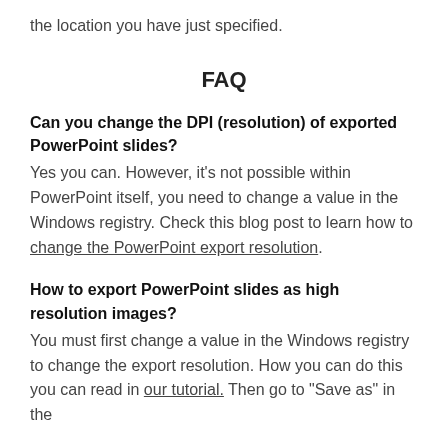the location you have just specified.
FAQ
Can you change the DPI (resolution) of exported PowerPoint slides?
Yes you can. However, it's not possible within PowerPoint itself, you need to change a value in the Windows registry. Check this blog post to learn how to change the PowerPoint export resolution.
How to export PowerPoint slides as high resolution images?
You must first change a value in the Windows registry to change the export resolution. How you can do this you can read in our tutorial. Then go to "Save as" in the